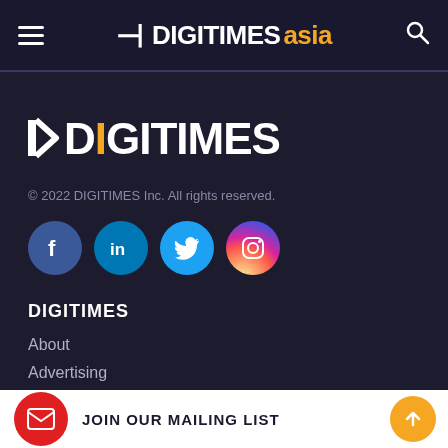DIGITIMES asia
[Figure (logo): DIGITIMES large white logo on dark background]
© 2022 DIGITIMES Inc. All rights reserved.
[Figure (infographic): Social media icons: Facebook, LinkedIn, Twitter, Instagram]
DIGITIMES
About
Advertising
JOIN OUR MAILING LIST